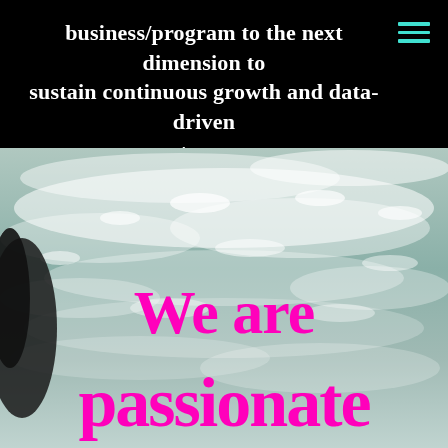business/program to the next dimension to sustain continuous growth and data-driven outcomes.
[Figure (photo): Aerial or close-up view of turbulent ocean waves with white foam and seafoam-green water. A dark rock or figure is visible on the left side. Over the image, large handwritten-style magenta/hot-pink text reads 'We are passionate'.]